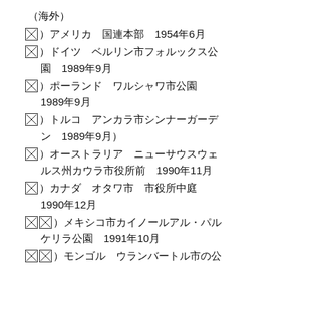（海外）
☒）アメリカ　国連本部　1954年6月
☒）ドイツ　ベルリン市フォルックス公園　1989年9月
☒）ポーランド　ワルシャワ市公園　1989年9月
☒）トルコ　アンカラ市シンナーガーデン　1989年9月）
☒）オーストラリア　ニューサウスウェルス州カウラ市役所前　1990年11月
☒）カナダ　オタワ市　市役所中庭　1990年12月
☒☒）メキシコ市カイノールアル・パルケリラ公園　1991年10月
☒☒）モンゴル　ウランバートル市の公